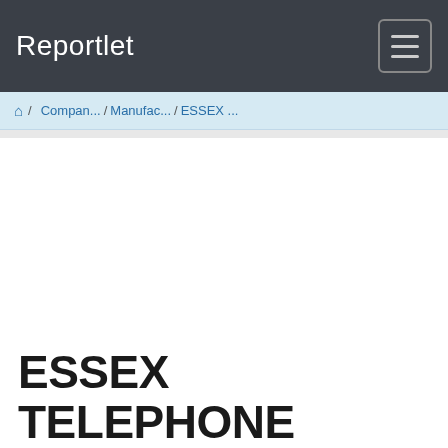Reportlet
🏠 / Compan... / Manufac... / ESSEX ...
ESSEX TELEPHONE